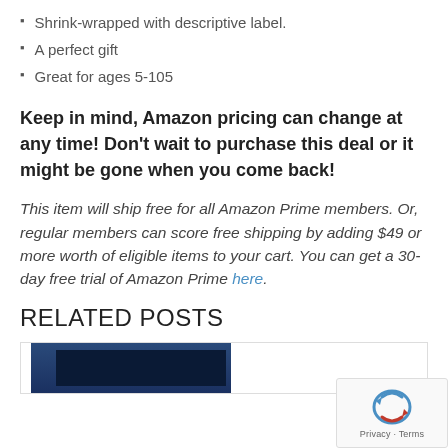Shrink-wrapped with descriptive label.
A perfect gift
Great for ages 5-105
Keep in mind, Amazon pricing can change at any time! Don't wait to purchase this deal or it might be gone when you come back!
This item will ship free for all Amazon Prime members. Or, regular members can score free shipping by adding $49 or more worth of eligible items to your cart. You can get a 30-day free trial of Amazon Prime here.
RELATED POSTS
[Figure (photo): Partial view of a laptop computer at the bottom of the page]